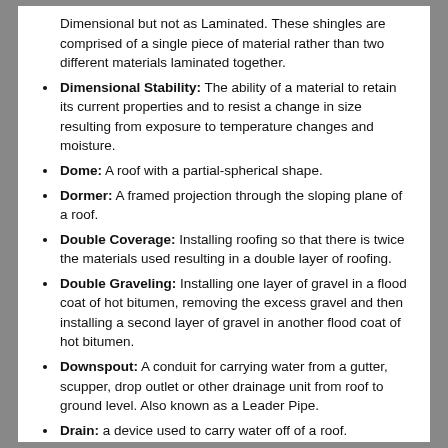Dimensional but not as Laminated. These shingles are comprised of a single piece of material rather than two different materials laminated together.
Dimensional Stability: The ability of a material to retain its current properties and to resist a change in size resulting from exposure to temperature changes and moisture.
Dome: A roof with a partial-spherical shape.
Dormer: A framed projection through the sloping plane of a roof.
Double Coverage: Installing roofing so that there is twice the materials used resulting in a double layer of roofing.
Double Graveling: Installing one layer of gravel in a flood coat of hot bitumen, removing the excess gravel and then installing a second layer of gravel in another flood coat of hot bitumen.
Downspout: A conduit for carrying water from a gutter, scupper, drop outlet or other drainage unit from roof to ground level. Also known as a Leader Pipe.
Drain: a device used to carry water off of a roof.